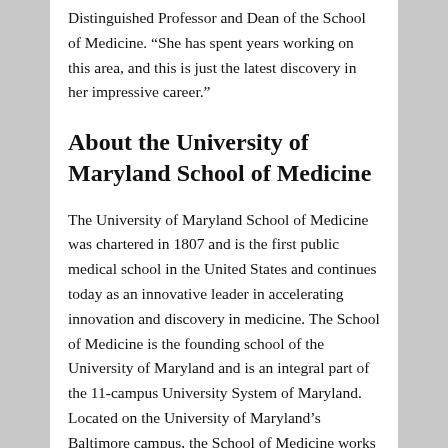Distinguished Professor and Dean of the School of Medicine. “She has spent years working on this area, and this is just the latest discovery in her impressive career.”
About the University of Maryland School of Medicine
The University of Maryland School of Medicine was chartered in 1807 and is the first public medical school in the United States and continues today as an innovative leader in accelerating innovation and discovery in medicine. The School of Medicine is the founding school of the University of Maryland and is an integral part of the 11-campus University System of Maryland. Located on the University of Maryland’s Baltimore campus, the School of Medicine works closely with the University of Maryland Medical Center and Medical System to provide a research-intensive